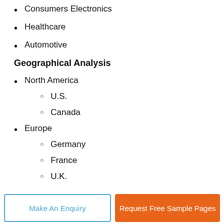Consumers Electronics
Healthcare
Automotive
Geographical Analysis
North America
U.S.
Canada
Europe
Germany
France
U.K.
Make An Enquiry | Request Free Sample Pages